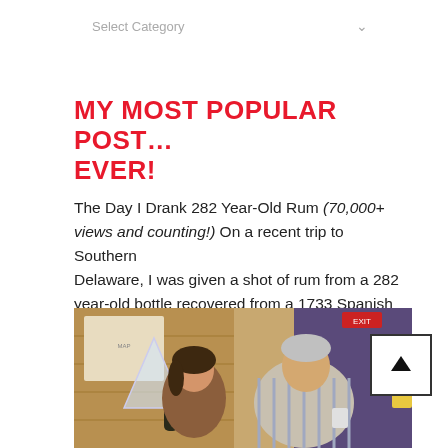Select Category
MY MOST POPULAR POST… EVER!
The Day I Drank 282 Year-Old Rum (70,000+ views and counting!) On a recent trip to Southern Delaware, I was given a shot of rum from a 282 year-old bottle recovered from a 1733 Spanish shipwreck. Whoa...
[Figure (photo): Two people posing together indoors; the woman on the left is holding a dark bottle and the man on the right is holding a cup. Background shows wooden paneling and a map poster.]